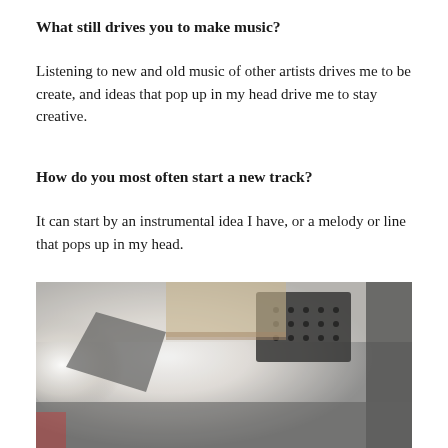What still drives you to make music?
Listening to new and old music of other artists drives me to be create, and ideas that pop up in my head drive me to stay creative.
How do you most often start a new track?
It can start by an instrumental idea I have, or a melody or line that pops up in my head.
[Figure (photo): A photo of a music studio interior taken from a low angle, showing acoustic panels on the ceiling and walls, with equipment visible.]